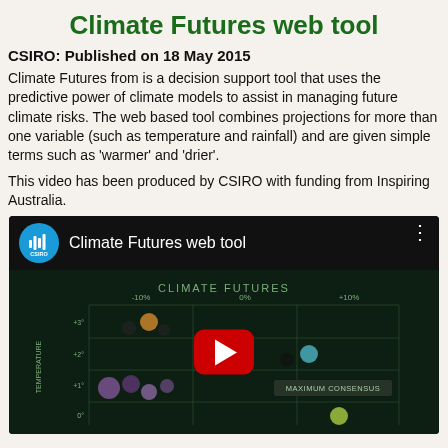Climate Futures web tool
CSIRO: Published on 18 May 2015
Climate Futures from is a decision support tool that uses the predictive power of climate models to assist in managing future climate risks. The web based tool combines projections for more than one variable (such as temperature and rainfall) and are given simple terms such as 'warmer' and 'drier'.
This video has been produced by CSIRO with funding from Inspiring Australia.
[Figure (screenshot): YouTube video embed showing the Climate Futures web tool video by CSIRO. The video thumbnail shows a dark green scatter plot interface labeled 'CLIMATE FUTURES' with axes for temperature and rainfall (showing -10%, 0%, +10% columns), colored dots representing climate model scenarios, and a 'MAXIMUM CONSENSUS' label. A red YouTube play button is centered on the thumbnail. The top bar shows the CSIRO logo (blue circle with audio wave icon) and title 'Climate Futures web tool'.]